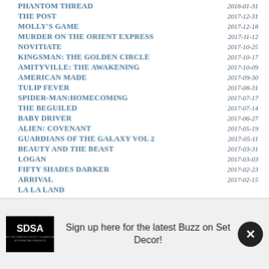PHANTOM THREAD — 2018-01-31
THE POST — 2017-12-31
MOLLY'S GAME — 2017-12-18
MURDER ON THE ORIENT EXPRESS — 2017-11-12
NOVITIATE — 2017-10-25
KINGSMAN: THE GOLDEN CIRCLE — 2017-10-17
AMITYVILLE: THE AWAKENING — 2017-10-09
AMERICAN MADE — 2017-09-30
TULIP FEVER — 2017-08-31
SPIDER-MAN:HOMECOMING — 2017-07-17
THE BEGUILED — 2017-07-14
BABY DRIVER — 2017-06-27
ALIEN: COVENANT — 2017-05-19
GUARDIANS OF THE GALAXY VOL 2 — 2017-05-11
BEAUTY AND THE BEAST — 2017-03-31
LOGAN — 2017-03-03
FIFTY SHADES DARKER — 2017-02-23
ARRIVAL — 2017-02-15
LA LA LAND — (date cut off)
Sign up here for the latest Buzz on Set Decor!